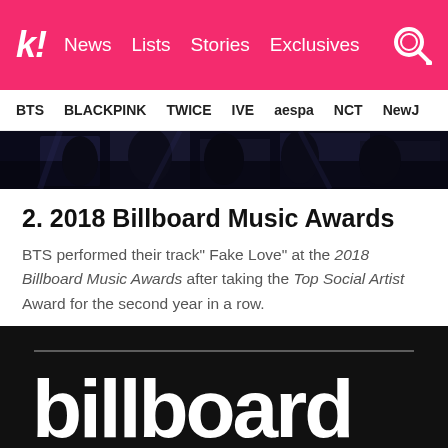K! News  Lists  Stories  Exclusives
BTS  BLACKPINK  TWICE  IVE  aespa  NCT  NewJ
[Figure (photo): Dark concert performance photo, partially visible at top of page]
2. 2018 Billboard Music Awards
BTS performed their track" Fake Love" at the 2018 Billboard Music Awards after taking the Top Social Artist Award for the second year in a row.
[Figure (logo): Billboard logo on black background with white text and horizontal line above]